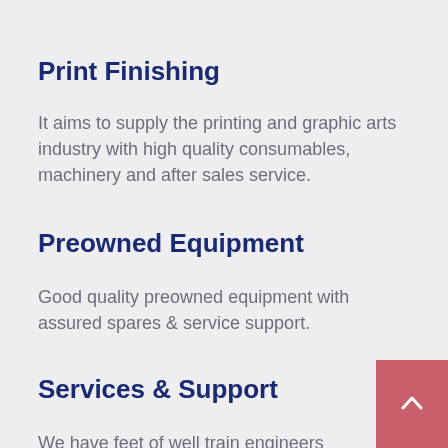Print Finishing
It aims to supply the printing and graphic arts industry with high quality consumables, machinery and after sales service.
Preowned Equipment
Good quality preowned equipment with assured spares & service support.
Services & Support
We have feet of well train engineers from our global manufacturers and hence they are able to offer the end...